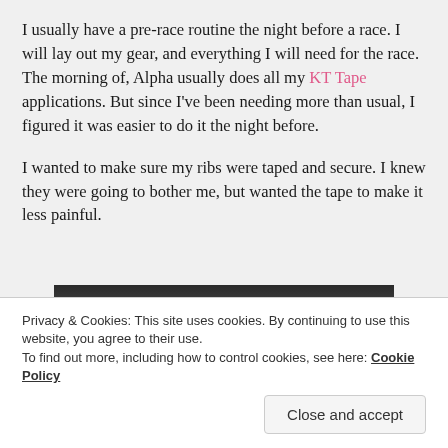I usually have a pre-race routine the night before a race. I will lay out my gear, and everything I will need for the race. The morning of, Alpha usually does all my KT Tape applications. But since I've been needing more than usual, I figured it was easier to do it the night before.
I wanted to make sure my ribs were taped and secure. I knew they were going to bother me, but wanted the tape to make it less painful.
[Figure (photo): Close-up photo of a person's upper body/shoulder area showing KT tape application, wearing a blue/teal striped garment]
Privacy & Cookies: This site uses cookies. By continuing to use this website, you agree to their use. To find out more, including how to control cookies, see here: Cookie Policy